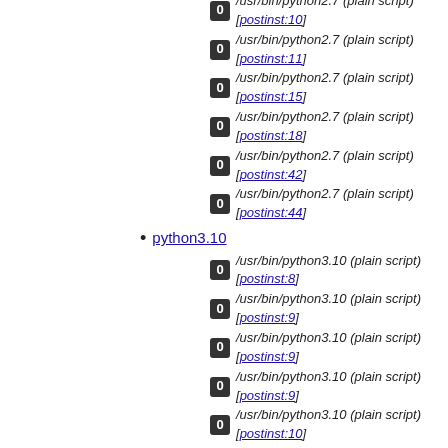/usr/bin/python2.7 (plain script) [postinst:10]
/usr/bin/python2.7 (plain script) [postinst:11]
/usr/bin/python2.7 (plain script) [postinst:15]
/usr/bin/python2.7 (plain script) [postinst:18]
/usr/bin/python2.7 (plain script) [postinst:42]
/usr/bin/python2.7 (plain script) [postinst:44]
python3.10
/usr/bin/python3.10 (plain script) [postinst:8]
/usr/bin/python3.10 (plain script) [postinst:9]
/usr/bin/python3.10 (plain script) [postinst:9]
/usr/bin/python3.10 (plain script) [postinst:9]
/usr/bin/python3.10 (plain script) [postinst:10]
/usr/bin/python3.10 (plain script) [postinst:11]
/usr/bin/python3.10 (plain script) [postinst:11]
/usr/bin/python3.10 (plain script) [postinst:11]
/usr/bin/python3.10 (plain script) [postinst:15]
/usr/bin/python3.10 (plain script) [postinst:18]
/usr/bin/python3.10 (plain script) [postinst:51]
/usr/bin/python3.10 (plain script) [postinst:53]
python3.9
/usr/bin/python3.9 (plain script) [postinst:8]
/usr/bin/python3.9 (plain script) [postinst:9]
/usr/bin/python3.9 (plain script) [postinst:9]
/usr/bin/python3.9 (plain script) [postinst:9]
/usr/bin/python3.9 (plain script) [postinst:10]
/usr/bin/python3.9 (plain script) [postinst:11]